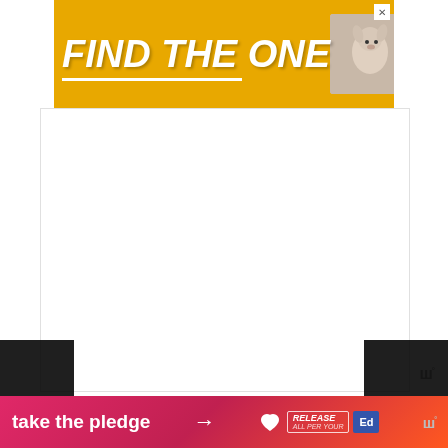[Figure (other): Advertisement banner with yellow/gold background reading FIND THE ONE with a dog photo]
[Figure (other): Large white advertisement space area]
Your dog sneezes a lot because they might have an allergy. It's commonly caused by pollens, dust mites, molds, and mildew.
If they do this intensely, they could also be... their
[Figure (other): What's Next widget showing 9 Odd Reasons Wh...]
[Figure (other): Bottom advertisement banner: take the pledge with RELEASE and Ed logos]